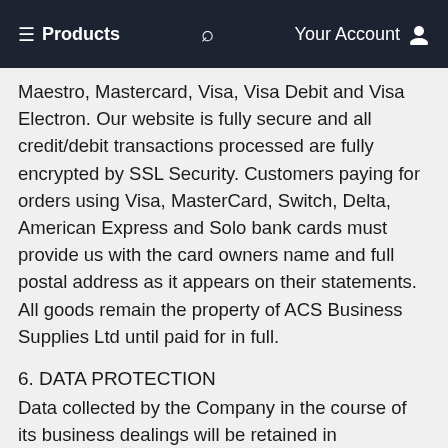≡ Products    🔍    Your Account 👤
Maestro, Mastercard, Visa, Visa Debit and Visa Electron. Our website is fully secure and all credit/debit transactions processed are fully encrypted by SSL Security. Customers paying for orders using Visa, MasterCard, Switch, Delta, American Express and Solo bank cards must provide us with the card owners name and full postal address as it appears on their statements. All goods remain the property of ACS Business Supplies Ltd until paid for in full.
6. DATA PROTECTION
Data collected by the Company in the course of its business dealings will be retained in accordance with these Terms and Conditions and any prevailing